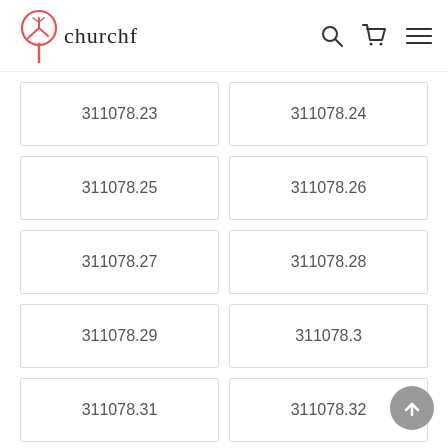churchf
311078.23
311078.24
311078.25
311078.26
311078.27
311078.28
311078.29
311078.3
311078.31
311078.32
311078.33
311078.34